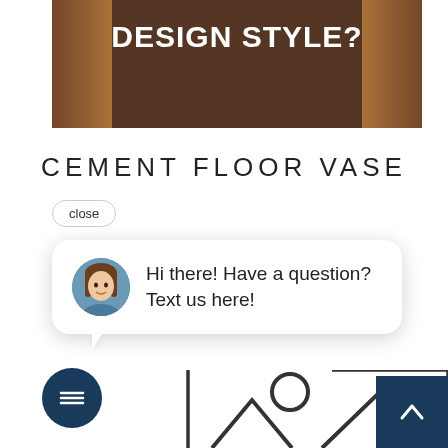[Figure (photo): Hero banner image showing an interior room with curtains, overlaid with dark brown tint and bold white text reading 'DESIGN STYLE?']
CEMENT FLOOR VASE
close
[Figure (screenshot): Live chat popup bubble with avatar of a woman and text: 'Hi there! Have a question? Text us here!']
[Figure (illustration): Product image placeholder showing geometric shapes: circle, two mountain/triangle shapes, with border lines]
[Figure (other): Dark navy chat button with message icon at bottom left, and dark navy scroll-to-top button with chevron at bottom right]